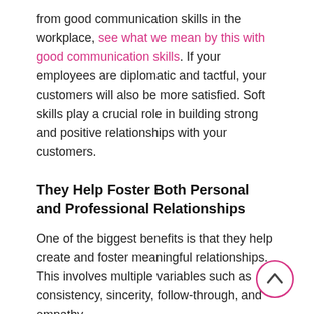from good communication skills in the workplace, see what we mean by this with good communication skills. If your employees are diplomatic and tactful, your customers will also be more satisfied. Soft skills play a crucial role in building strong and positive relationships with your customers.
They Help Foster Both Personal and Professional Relationships
One of the biggest benefits is that they help create and foster meaningful relationships. This involves multiple variables such as consistency, sincerity, follow-through, and empathy.
However, they not only help create personal relationships in the workplace, but they also help